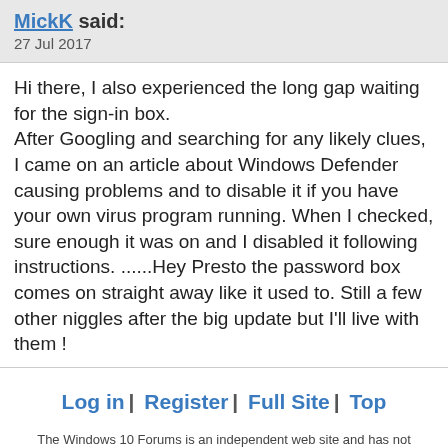MickK said:
27 Jul 2017
Hi there, I also experienced the long gap waiting for the sign-in box.
After Googling and searching for any likely clues, I came on an article about Windows Defender causing problems and to disable it if you have your own virus program running. When I checked, sure enough it was on and I disabled it following instructions. ......Hey Presto the password box comes on straight away like it used to. Still a few other niggles after the big update but I'll live with them !
Log in | Register | Full Site | Top
The Windows 10 Forums is an independent web site and has not been authorized,
sponsored, or otherwise approved by Microsoft Corporation.
"Windows" and related materials are trademarks of Microsoft Corp.
© Designer Media Ltd